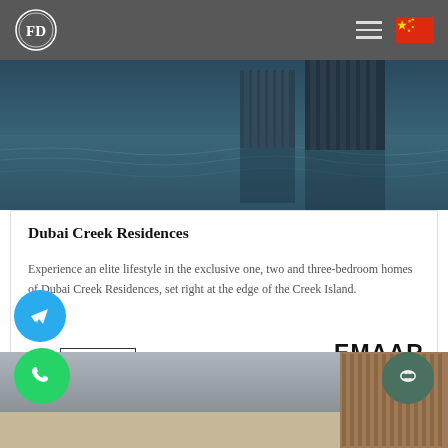FD logo | navigation menu | China flag
[Figure (photo): Hero image showing Dubai Creek waterfront with dark teal water reflecting tall modern skyscraper towers]
Dubai Creek Residences
Experience an elite lifestyle in the exclusive one, two and three-bedroom homes of Dubai Creek Residences, set right at the edge of the Creek Island.
[Figure (other): READ MORE button with border]
[Figure (logo): EMAAR logo in bold black text]
[Figure (other): Telegram icon button - blue circle with paper plane icon]
[Figure (other): WhatsApp icon button - green circle with phone icon]
[Figure (other): Chat icon button - dark teal circle with chat bubble icon]
[Figure (photo): Bottom strip showing partial view of wooden deck and grey toned exterior]